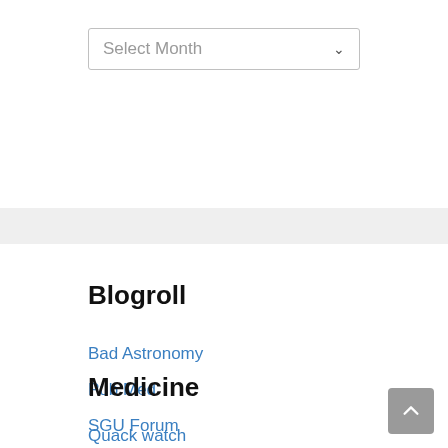Select Month
Blogroll
Bad Astronomy
Pub Med
SGU Forum
Medicine
Quack watch